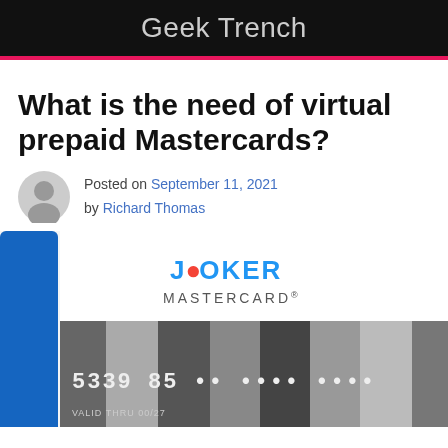Geek Trench
What is the need of virtual prepaid Mastercards?
Posted on September 11, 2021 by Richard Thomas
[Figure (photo): Joker Mastercard virtual prepaid card showing card number 5339 85.. .... ...., VALID THRU 00/27, with alternating dark and light gray vertical stripes and a blue tab on the left edge. The Joker Mastercard logo appears above the card.]